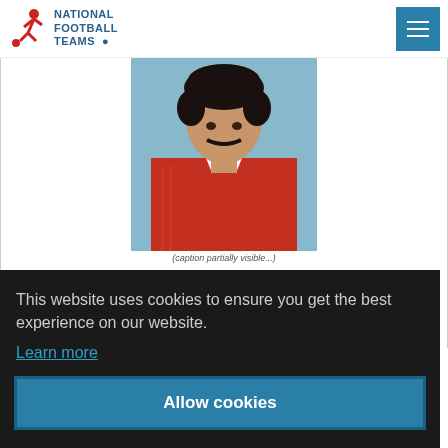National Football Teams
[Figure (photo): Photo of a football player wearing a red Portugal national team jersey with adidas logo, dark curly hair and mustache, photographed against a blue background]
Caption partially visible below photo
This website uses cookies to ensure you get the best experience on our website.
Learn more
Allow cookies